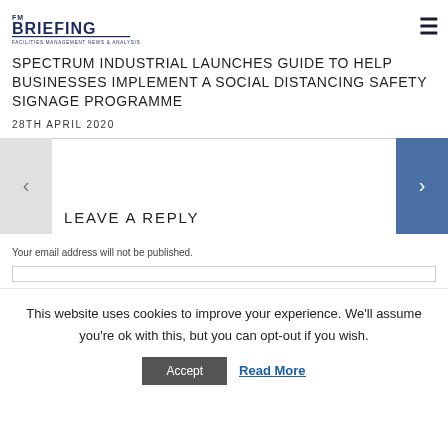FM BRIEFING — FACILITIES MANAGEMENT NEWS & ANALYSIS
SPECTRUM INDUSTRIAL LAUNCHES GUIDE TO HELP BUSINESSES IMPLEMENT A SOCIAL DISTANCING SAFETY SIGNAGE PROGRAMME
28TH APRIL 2020
LEAVE A REPLY
Your email address will not be published.
This website uses cookies to improve your experience. We'll assume you're ok with this, but you can opt-out if you wish.